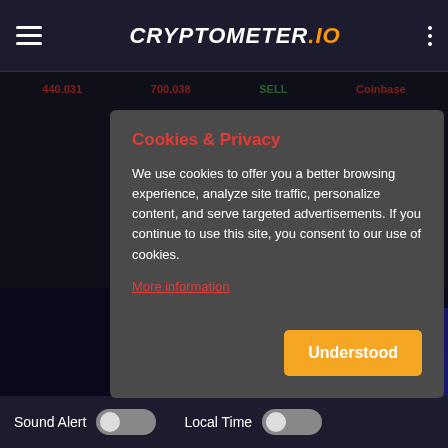CRYPTOMETER.io
440.031   700.038   SELL   Coinbase
Cookies & Privacy
We use cookies to offer you a better browsing experience, analyze site traffic, personalize content, and serve targeted advertisements. If you continue to use this site, you consent to our use of cookies.
More information
Understood
ads via coin.network
[Figure (screenshot): Advertisement banner showing '15%-BONUS FOR DAILY DEPOSITS' with red glowing text on dark background]
Sound Alert   Local Time